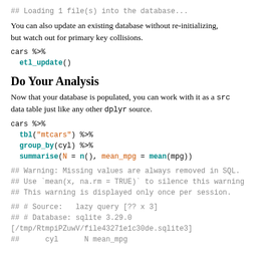## Loading 1 file(s) into the database...
You can also update an existing database without re-initializing, but watch out for primary key collisions.
cars %>%
  etl_update()
Do Your Analysis
Now that your database is populated, you can work with it as a src data table just like any other dplyr source.
cars %>%
  tbl("mtcars") %>%
  group_by(cyl) %>%
  summarise(N = n(), mean_mpg = mean(mpg))
## Warning: Missing values are always removed in SQL.
## Use `mean(x, na.rm = TRUE)` to silence this warning
## This warning is displayed only once per session.
## # Source:   lazy query [?? x 3]
## # Database: sqlite 3.29.0
[/tmp/RtmpiPZuwV/file43271e1c30de.sqlite3]
##      cyl      N mean_mpg